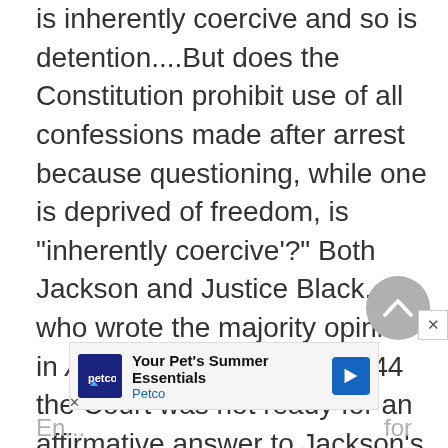is inherently coercive and so is detention....But does the Constitution prohibit use of all confessions made after arrest because questioning, while one is deprived of freedom, is "inherently coercive'?" Both Jackson and Justice Black, who wrote the majority opinion in Ashcraft, knew that in 1944 the Court was not ready for an affirmative answer to Jackson's question. But by 1966 the Court had grown ready.
[Figure (other): Gray circular scroll-to-top button with upward chevron arrow]
[Figure (other): Petco advertisement banner: Your Pet's Summer Essentials]
En...                                                                                          for